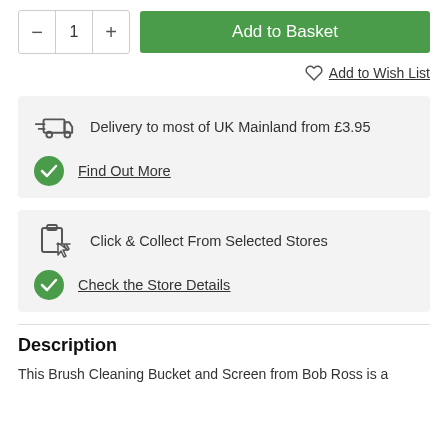[Figure (other): Quantity selector with minus and plus buttons showing value 1, and a green Add to Basket button]
Add to Wish List
Delivery to most of UK Mainland from £3.95
Find Out More
Click & Collect From Selected Stores
Check the Store Details
Description
This Brush Cleaning Bucket and Screen from Bob Ross is a